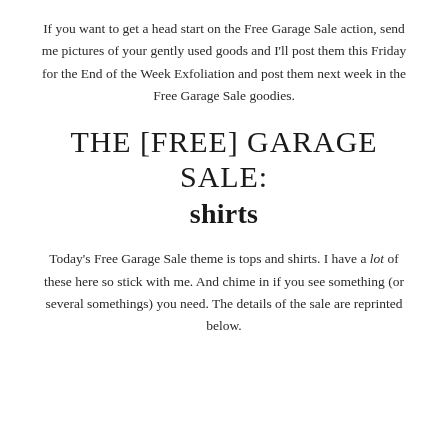If you want to get a head start on the Free Garage Sale action, send me pictures of your gently used goods and I'll post them this Friday for the End of the Week Exfoliation and post them next week in the Free Garage Sale goodies.
THE [FREE] GARAGE SALE: shirts
Today's Free Garage Sale theme is tops and shirts. I have a lot of these here so stick with me. And chime in if you see something (or several somethings) you need. The details of the sale are reprinted below.